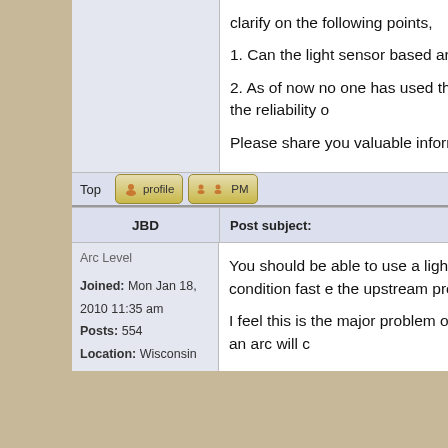clarify on the following points,
1. Can the light sensor based arcflash implemented in MCC
2. As of now no one has used this technology we are skeptical about the reliability of
Please share you valuable information
Top
JBD
Post subject:
Arc Level
Joined: Mon Jan 18, 2010 11:35 am
Posts: 554
Location: Wisconsin
You should be able to use a light sensor it can detect an arcing condition fast enough the upstream protective device.
I feel this is the major problem of these empirically predict where an arc will c